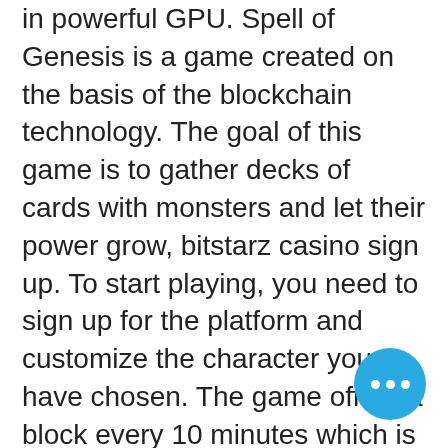in powerful GPU. Spell of Genesis is a game created on the basis of the blockchain technology. The goal of this game is to gather decks of cards with monsters and let their power grow, bitstarz casino sign up. To start playing, you need to sign up for the platform and customize the character you have chosen. The game offers a block every 10 minutes which is shared by all the players depending on the mining power possessed, bitstarz casino zatočení zdarma. The answer lies in a tangled web of variables that include the broad spectrum of humanity: politics, psychology, finance, fear, freedom, privacy, security' etc, bitstarz casino sister sites. Regardless of the outcome it is sure to be a fascinating show. That will, for sure, increase your chances of playing a fair platform that will get your withdrawals processed quickly, and with